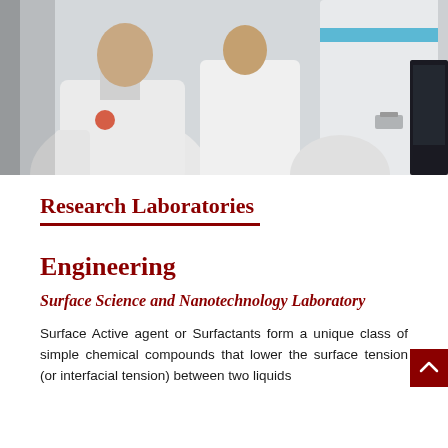[Figure (photo): Two researchers in white lab coats standing next to large white laboratory equipment with a blue band near the top. A monitor is visible on the right side.]
Research Laboratories
Engineering
Surface Science and Nanotechnology Laboratory
Surface Active agent or Surfactants form a unique class of simple chemical compounds that lower the surface tension (or interfacial tension) between two liquids